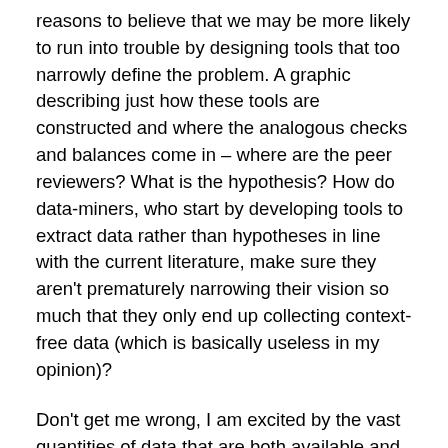reasons to believe that we may be more likely to run into trouble by designing tools that too narrowly define the problem. A graphic describing just how these tools are constructed and where the analogous checks and balances come in – where are the peer reviewers? What is the hypothesis? How do data-miners, who start by developing tools to extract data rather than hypotheses in line with the current literature, make sure they aren't prematurely narrowing their vision so much that they only end up collecting context-free data (which is basically useless in my opinion)?
Don't get me wrong, I am excited by the vast quantities of data that are both available and easy to analyze on desk top computers (even more can be done on big work stations and so forth). Caution is in order lest we throw out all that is reliable and robust about current research methods in favor of getting to a result more quickly. We could use the traditional hypothesis driven, double-blind kind of trial procedure coupled with the power of DNA analysis and